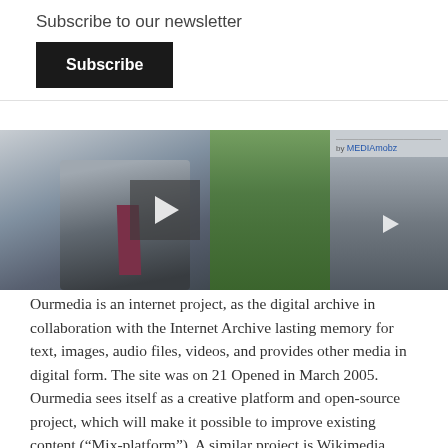Subscribe to our newsletter
Subscribe
[Figure (screenshot): Video player showing a man in a suit with a play button overlay, and a sidebar with a smaller video thumbnail attributed to MEDIAmobz]
Ourmedia is an internet project, as the digital archive in collaboration with the Internet Archive lasting memory for text, images, audio files, videos, and provides other media in digital form. The site was on 21 Opened in March 2005.
Ourmedia sees itself as a creative platform and open-source project, which will make it possible to improve existing content (“Mix-platform”). A similar project is Wikimedia Commons.
The focus is on free content, but there are also other copyrighted content recorded. Not included is pornography. Founder of